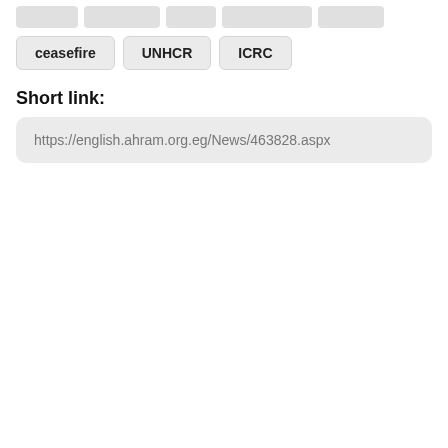[Figure (other): Row of grey placeholder tag boxes at the top of the page]
ceasefire
UNHCR
ICRC
Short link:
https://english.ahram.org.eg/News/463828.aspx